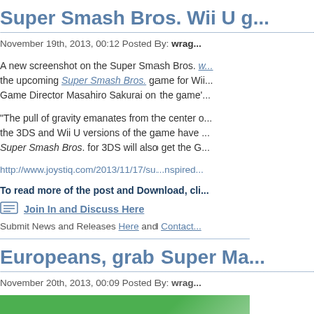Super Smash Bros. Wii U g...
November 19th, 2013, 00:12 Posted By: wrag...
A new screenshot on the Super Smash Bros. w... the upcoming Super Smash Bros. game for Wii... Game Director Masahiro Sakurai on the game'...
"The pull of gravity emanates from the center o... the 3DS and Wii U versions of the game have ... Super Smash Bros. for 3DS will also get the G...
http://www.joystiq.com/2013/11/17/su...nspired...
To read more of the post and Download, cli...
Join In and Discuss Here
Submit News and Releases Here and Contact...
Europeans, grab Super Ma...
November 20th, 2013, 00:09 Posted By: wrag...
[Figure (photo): Green background game image thumbnail]